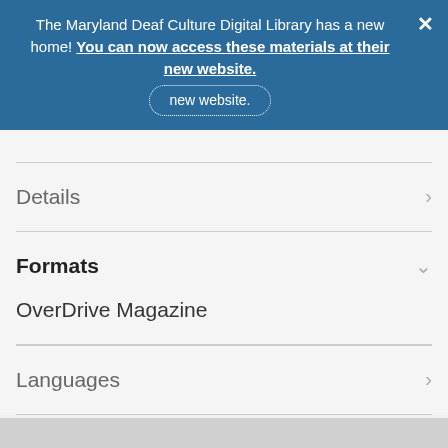The Maryland Deaf Culture Digital Library has a new home! You can now access these materials at their new website.
Details
Formats
OverDrive Magazine
Languages